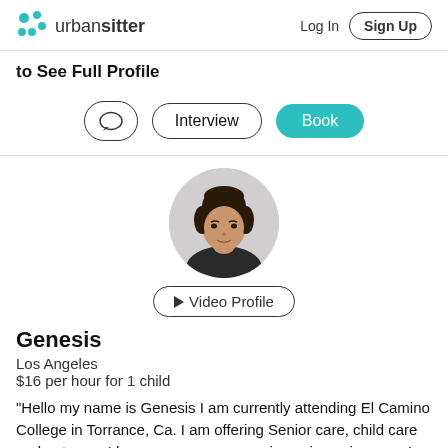urbansitter  Log In  Sign Up
to See Full Profile
Interview  Book
[Figure (photo): Profile photo of Genesis, a young woman with dark hair in a bun, wearing a dark top, circular cropped portrait]
▶ Video Profile
Genesis
Los Angeles
$16 per hour for 1 child
"Hello my name is Genesis I am currently attending El Camino College in Torrance, Ca. I am offering Senior care, child care and pet care. I have over a year experience in senior care. I can in..."  Sign Up to See